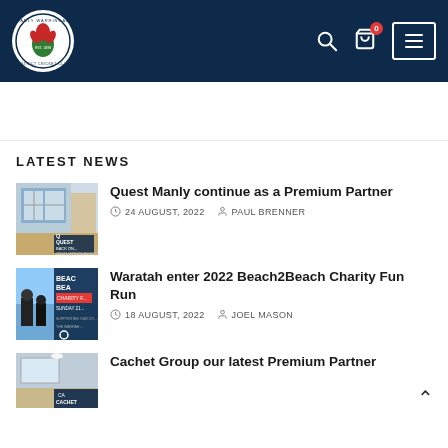Manly Warringah District Cricket Club header with logo, search, cart (0), and menu icons
LATEST NEWS
[Figure (photo): Thumbnail image for Quest Manly sponsor announcement post]
Quest Manly continue as a Premium Partner
24 AUGUST, 2022  PAUL BRENNER
[Figure (photo): Thumbnail image for Waratah Beach2Beach Charity Fun Run post]
Waratah enter 2022 Beach2Beach Charity Fun Run
18 AUGUST, 2022  JOEL MASON
[Figure (photo): Thumbnail image for Cachet Group Premium Partner post]
Cachet Group our latest Premium Partner